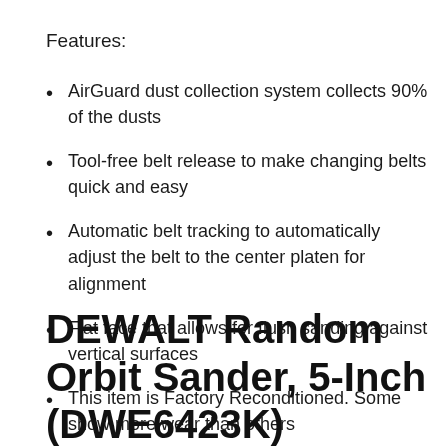Features:
AirGuard dust collection system collects 90% of the dusts
Tool-free belt release to make changing belts quick and easy
Automatic belt tracking to automatically adjust the belt to the center platen for alignment
Flat face that allows for flush sanding against vertical surfaces
This item is Factory Reconditioned. Some show more wear than others
DEWALT Random Orbit Sander, 5-Inch (DWE6423K)